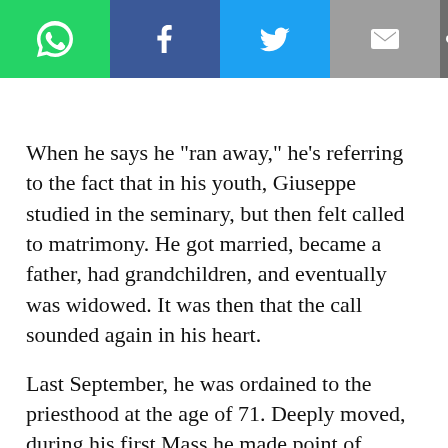[Figure (infographic): Social media share toolbar with WhatsApp (green), Facebook (blue), Twitter (light blue), Email (grey) buttons on left, and a share icon on the right dark grey area]
When he says he “ran away,” he’s referring to the fact that in his youth, Giuseppe studied in the seminary, but then felt called to matrimony. He got married, became a father, had grandchildren, and eventually was widowed. It was then that the call sounded again in his heart.
Last September, he was ordained to the priesthood at the age of 71. Deeply moved, during his first Mass he made point of remembering his love for his wife, who had already donated to the Father’s love.